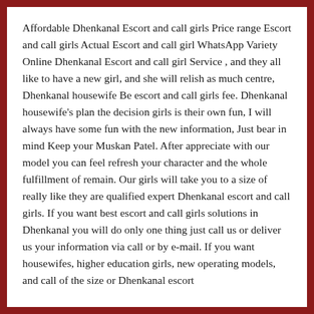Affordable Dhenkanal Escort and call girls Price range Escort and call girls Actual Escort and call girl WhatsApp Variety Online Dhenkanal Escort and call girl Service , and they all like to have a new girl, and she will relish as much centre, Dhenkanal housewife Be escort and call girls fee. Dhenkanal housewife's plan the decision girls is their own fun, I will always have some fun with the new information, Just bear in mind Keep your Muskan Patel. After appreciate with our model you can feel refresh your character and the whole fulfillment of remain. Our girls will take you to a size of really like they are qualified expert Dhenkanal escort and call girls. If you want best escort and call girls solutions in Dhenkanal you will do only one thing just call us or deliver us your information via call or by e-mail. If you want housewifes, higher education girls, new operating models, and call of the size or Dhenkanal escort